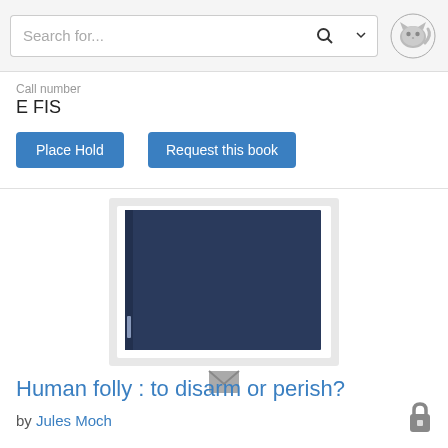Search for...
Call number
E FIS
Place Hold
Request this book
[Figure (photo): Book cover image of a dark navy blue plain hardcover book with a white border/mat frame, and a small envelope/mail icon below it.]
Human folly : to disarm or perish?
by Jules Moch